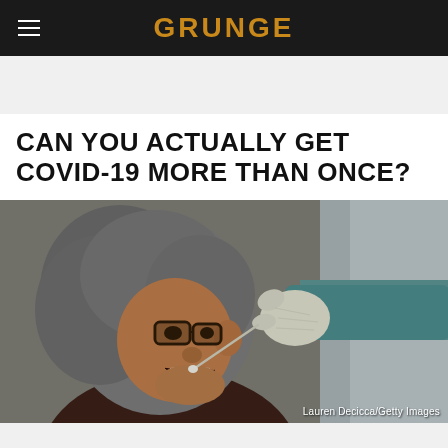GRUNGE
CAN YOU ACTUALLY GET COVID-19 MORE THAN ONCE?
[Figure (photo): An older woman with grey hair and glasses has mouth open wide while a gloved medical worker in blue PPE inserts a swab for a COVID-19 test.]
Lauren Decicca/Getty Images